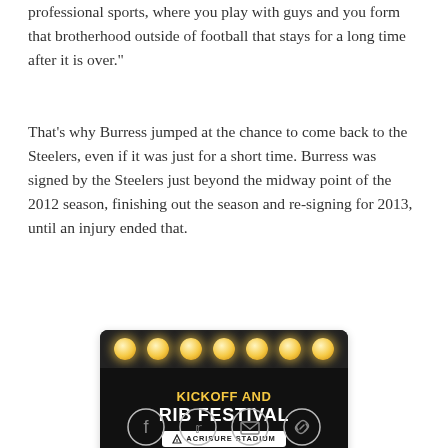professional sports, where you play with guys and you form that brotherhood outside of football that stays for a long time after it is over."
That's why Burress jumped at the chance to come back to the Steelers, even if it was just for a short time. Burress was signed by the Steelers just beyond the midway point of the 2012 season, finishing out the season and re-signing for 2013, until an injury ended that.
[Figure (photo): Advertisement for Kickoff and Rib Festival at Acrisure Stadium, presented by Miller Lite. Black background with marquee bulb lights along the top, gold and white text.]
[Figure (infographic): Social sharing icons: Facebook, Twitter, Email, and Link/copy icons in circular outlines.]